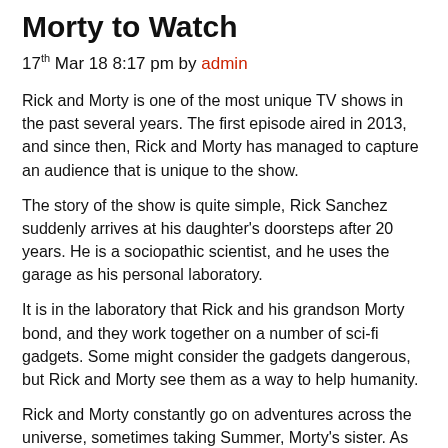Morty to Watch
17th Mar 18 8:17 pm by admin
Rick and Morty is one of the most unique TV shows in the past several years. The first episode aired in 2013, and since then, Rick and Morty has managed to capture an audience that is unique to the show.
The story of the show is quite simple, Rick Sanchez suddenly arrives at his daughter's doorsteps after 20 years. He is a sociopathic scientist, and he uses the garage as his personal laboratory.
It is in the laboratory that Rick and his grandson Morty bond, and they work together on a number of sci-fi gadgets. Some might consider the gadgets dangerous, but Rick and Morty see them as a way to help humanity.
Rick and Morty constantly go on adventures across the universe, sometimes taking Summer, Morty's sister. As one of the best sci-fi shows you can find, Rick and Morty has little to no competition. Still, if you like the show, you will like to read more about it on our website.